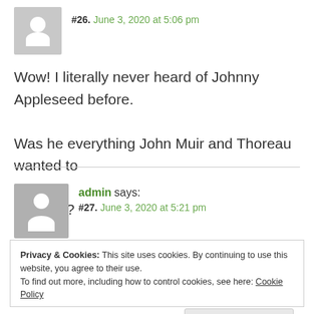#26. June 3, 2020 at 5:06 pm
Wow! I literally never heard of Johnny Appleseed before. Was he everything John Muir and Thoreau wanted to become?
admin says:
#27. June 3, 2020 at 5:21 pm
Privacy & Cookies: This site uses cookies. By continuing to use this website, you agree to their use.
To find out more, including how to control cookies, see here: Cookie Policy
Close and accept